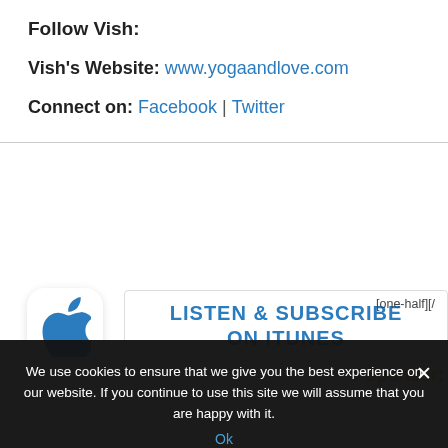Follow Vish:
Vish's Website: www.yogaandlove.com
Connect on: Facebook | Twitter
[Figure (other): Listen & Subscribe on iTunes button with Apple logo icon]
[one-half][/...
Sponsor:
We use cookies to ensure that we give you the best experience on our website. If you continue to use this site we will assume that you are happy with it. Ok